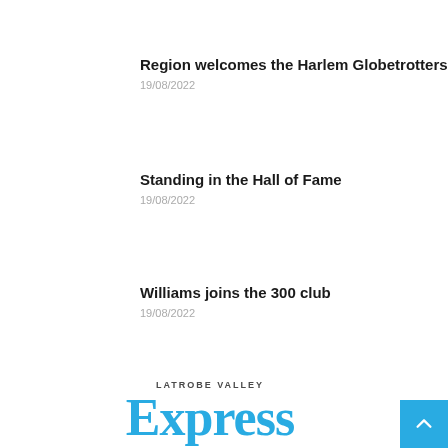Region welcomes the Harlem Globetrotters
19/08/2022
Standing in the Hall of Fame
19/08/2022
Williams joins the 300 club
19/08/2022
[Figure (logo): Latrobe Valley Express newspaper logo with 'LATROBE VALLEY' text above stylized 'Express' in blue]